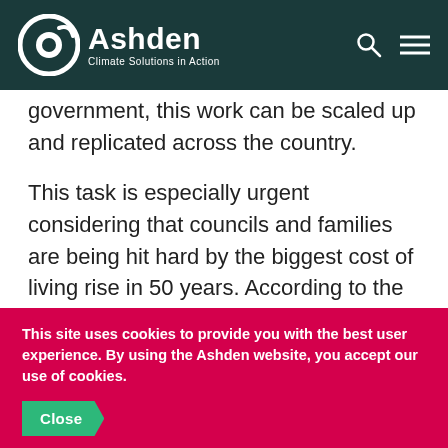Ashden — Climate Solutions in Action
government, this work can be scaled up and replicated across the country.
This task is especially urgent considering that councils and families are being hit hard by the biggest cost of living rise in 50 years. According to the Resolution Foundation, the number of English households in 'fuel stress' has doubled from 2.5 to 5 million as a result of the price cap
This site uses cookies to provide you with the best user experience. By using the Ashden website, you accept our use of cookies.